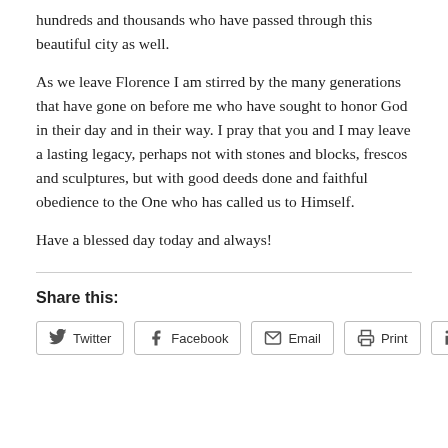hundreds and thousands who have passed through this beautiful city as well.
As we leave Florence I am stirred by the many generations that have gone on before me who have sought to honor God in their day and in their way. I pray that you and I may leave a lasting legacy, perhaps not with stones and blocks, frescos and sculptures, but with good deeds done and faithful obedience to the One who has called us to Himself.
Have a blessed day today and always!
Share this:
Twitter | Facebook | Email | Print | LinkedIn